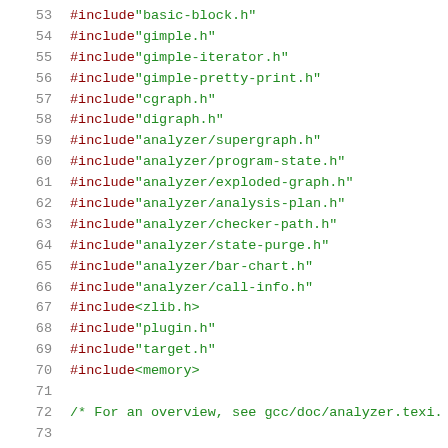53    #include "basic-block.h"
54    #include "gimple.h"
55    #include "gimple-iterator.h"
56    #include "gimple-pretty-print.h"
57    #include "cgraph.h"
58    #include "digraph.h"
59    #include "analyzer/supergraph.h"
60    #include "analyzer/program-state.h"
61    #include "analyzer/exploded-graph.h"
62    #include "analyzer/analysis-plan.h"
63    #include "analyzer/checker-path.h"
64    #include "analyzer/state-purge.h"
65    #include "analyzer/bar-chart.h"
66    #include "analyzer/call-info.h"
67    #include <zlib.h>
68    #include "plugin.h"
69    #include "target.h"
70    #include <memory>
71
72    /* For an overview, see gcc/doc/analyzer.texi.
73
74    #if ENABLE_ANALYZER